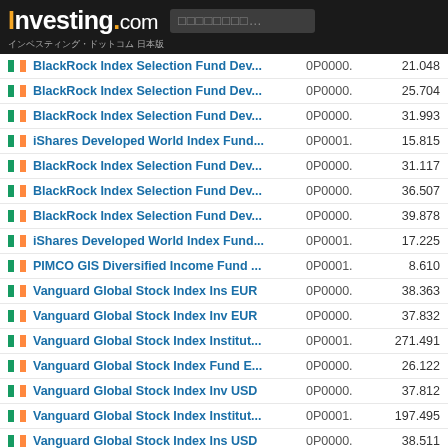Investing.com インベスティング・ドットコム 日本版
BlackRock Index Selection Fund Dev...
BlackRock Index Selection Fund Dev...
BlackRock Index Selection Fund Dev...
iShares Developed World Index Fund...
BlackRock Index Selection Fund Dev...
BlackRock Index Selection Fund Dev...
BlackRock Index Selection Fund Dev...
iShares Developed World Index Fund...
PIMCO GIS Diversified Income Fund ...
Vanguard Global Stock Index Ins EUR
Vanguard Global Stock Index Inv EUR
Vanguard Global Stock Index Institut...
Vanguard Global Stock Index Fund E...
Vanguard Global Stock Index Inv USD
Vanguard Global Stock Index Institut...
Vanguard Global Stock Index Ins USD
PIMCO Funds: Global Investors Serie...